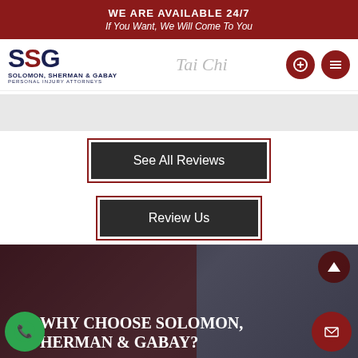WE ARE AVAILABLE 24/7
If You Want, We Will Come To You
[Figure (logo): SSG Solomon, Sherman & Gabay Personal Injury Attorneys logo with red and navy lettering]
Tai Chi
See All Reviews
Review Us
WHY CHOOSE SOLOMON, HERMAN & GABAY?